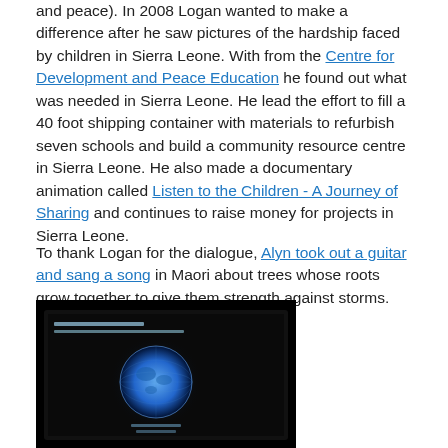and peace). In 2008 Logan wanted to make a difference after he saw pictures of the hardship faced by children in Sierra Leone. With from the Centre for Development and Peace Education he found out what was needed in Sierra Leone. He lead the effort to fill a 40 foot shipping container with materials to refurbish seven schools and build a community resource centre in Sierra Leone. He also made a documentary animation called Listen to the Children - A Journey of Sharing and continues to raise money for projects in Sierra Leone.
To thank Logan for the dialogue, Alyn took out a guitar and sang a song in Maori about trees whose roots grow together to give them strength against storms.
[Figure (photo): Dark photograph showing a screen or monitor displaying a glowing blue globe/Earth image against a black background, with some text visible on the screen.]